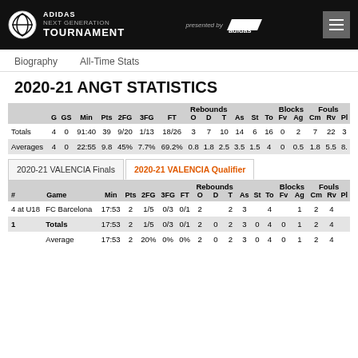ADIDAS NEXT GENERATION TOURNAMENT presented by adidas
Biography   All-Time Stats
2020-21 ANGT STATISTICS
|  | G | GS | Min | Pts | 2FG | 3FG | FT | O | D | T | As | St | To | Fv | Ag | Cm | Rv | Pl |
| --- | --- | --- | --- | --- | --- | --- | --- | --- | --- | --- | --- | --- | --- | --- | --- | --- | --- | --- |
| Totals | 4 | 0 | 91:40 | 39 | 9/20 | 1/13 | 18/26 | 3 | 7 | 10 | 14 | 6 | 16 | 0 | 2 | 7 | 22 | 3 |
| Averages | 4 | 0 | 22:55 | 9.8 | 45% | 7.7% | 69.2% | 0.8 | 1.8 | 2.5 | 3.5 | 1.5 | 4 | 0 | 0.5 | 1.8 | 5.5 | 8. |
2020-21 VALENCIA Finals   2020-21 VALENCIA Qualifier
| # | Game | Min | Pts | 2FG | 3FG | FT | O | D | T | As | St | To | Fv | Ag | Cm | Rv | Pl |
| --- | --- | --- | --- | --- | --- | --- | --- | --- | --- | --- | --- | --- | --- | --- | --- | --- | --- |
| 4 at U18 FC Barcelona | 17:53 | 2 | 1/5 | 0/3 | 0/1 | 2 |  | 2 | 3 | 4 |  | 1 | 2 | 4 |  |
| 1 | Totals | 17:53 | 2 | 1/5 | 0/3 | 0/1 | 2 | 0 | 2 | 3 | 0 | 4 | 0 | 1 | 2 | 4 |  |
|  | Average | 17:53 | 2 | 20% | 0% | 0% | 2 | 0 | 2 | 3 | 0 | 4 | 0 | 1 | 2 | 4 |  |